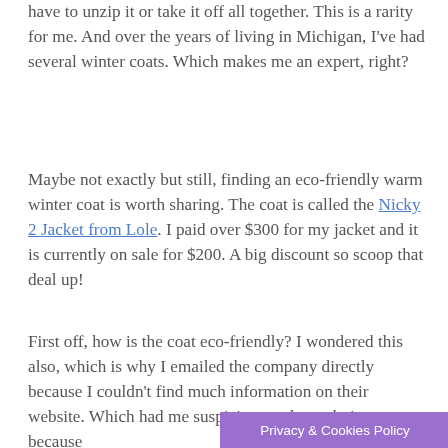have to unzip it or take it off all together. This is a rarity for me. And over the years of living in Michigan, I've had several winter coats. Which makes me an expert, right?
Maybe not exactly but still, finding an eco-friendly warm winter coat is worth sharing. The coat is called the Nicky 2 Jacket from Lole. I paid over $300 for my jacket and it is currently on sale for $200. A big discount so scoop that deal up!
First off, how is the coat eco-friendly? I wondered this also, which is why I emailed the company directly because I couldn't find much information on their website. Which had me suspicious and wondering because the